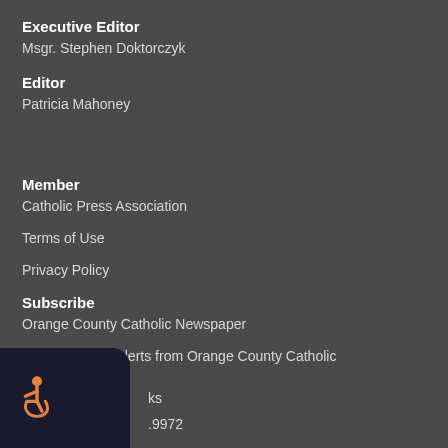Executive Editor
Msgr. Stephen Doktorczyk
Editor
Patricia Mahoney
Member
Catholic Press Association
Terms of Use
Privacy Policy
Subscribe
Orange County Catholic Newspaper
E-updates and alerts from Orange County Catholic
RSS Feed
oks
.9972